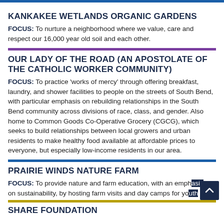KANKAKEE WETLANDS ORGANIC GARDENS
FOCUS: To nurture a neighborhood where we value, care and respect our 16,000 year old soil and each other.
OUR LADY OF THE ROAD (AN APOSTOLATE OF THE CATHOLIC WORKER COMMUNITY)
FOCUS: To practice 'works of mercy' through offering breakfast, laundry, and shower facilities to people on the streets of South Bend, with particular emphasis on rebuilding relationships in the South Bend community across divisions of race, class, and gender. Also home to Common Goods Co-Operative Grocery (CGCG), which seeks to build relationships between local growers and urban residents to make healthy food available at affordable prices to everyone, but especially low-income residents in our area.
PRAIRIE WINDS NATURE FARM
FOCUS: To provide nature and farm education, with an emphasis on sustainability, by hosting farm visits and day camps for youth
SHARE FOUNDATION